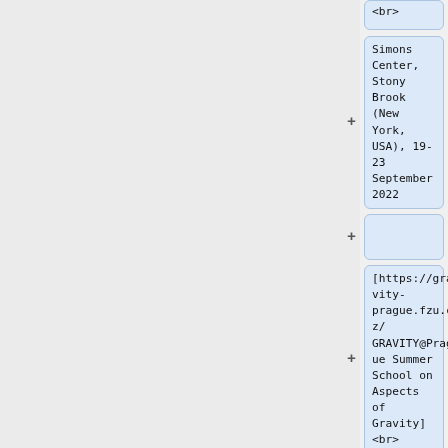<br>
Simons Center, Stony Brook (New York, USA), 19-23 September 2022
[https://gravity-prague.fzu.cz/ GRAVITY@Prague Summer School on Aspects of Gravity]<br>
CEICO,